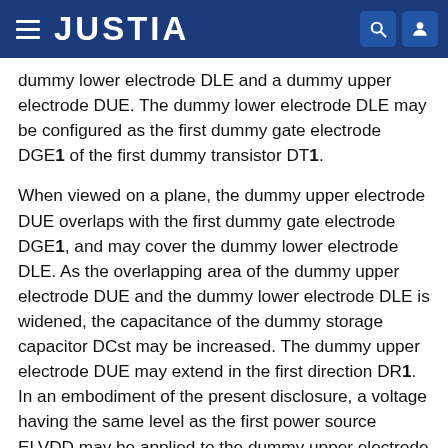JUSTIA
dummy lower electrode DLE and a dummy upper electrode DUE. The dummy lower electrode DLE may be configured as the first dummy gate electrode DGE1 of the first dummy transistor DT1.
When viewed on a plane, the dummy upper electrode DUE overlaps with the first dummy gate electrode DGE1, and may cover the dummy lower electrode DLE. As the overlapping area of the dummy upper electrode DUE and the dummy lower electrode DLE is widened, the capacitance of the dummy storage capacitor DCst may be increased. The dummy upper electrode DUE may extend in the first direction DR1. In an embodiment of the present disclosure, a voltage having the same level as the first power source ELVDD may be applied to the dummy upper electrode DUE. The dummy upper electrode DUE may have an opening OPN in a region